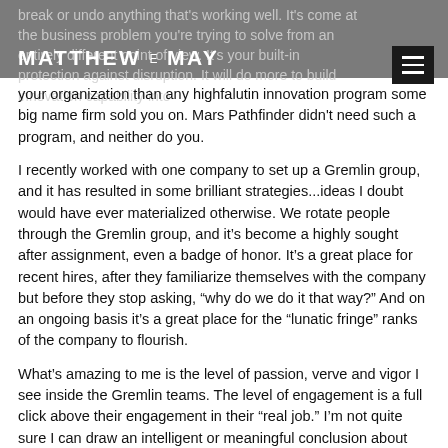MATTHEW E MAY
break or undo anything that's working well. It's come at the business problem you're trying to solve from an entirely different point of view. It's your built-in protection against disruption. It will do more to build innovation capability into your organization than any highfalutin innovation program some big name firm sold you on. Mars Pathfinder didn't need such a program, and neither do you.
I recently worked with one company to set up a Gremlin group, and it has resulted in some brilliant strategies...ideas I doubt would have ever materialized otherwise. We rotate people through the Gremlin group, and it's become a highly sought after assignment, even a badge of honor. It's a great place for recent hires, after they familiarize themselves with the company but before they stop asking, “why do we do it that way?” And on an ongoing basis it's a great place for the “lunatic fringe” ranks of the company to flourish.
What’s amazing to me is the level of passion, verve and vigor I see inside the Gremlin teams. The level of engagement is a full click above their engagement in their “real job.” I’m not quite sure I can draw an intelligent or meaningful conclusion about corporate cultures from this, because I simply don’t have enough evidence. But the early indications are that this may be